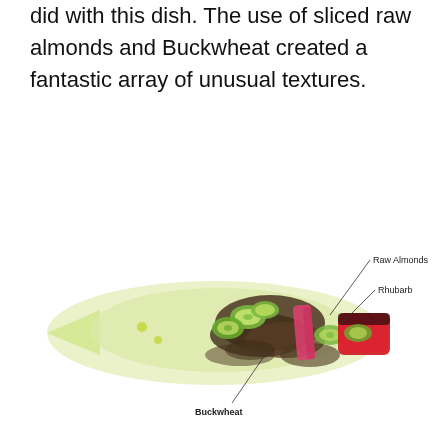did with this dish. The use of sliced raw almonds and Buckwheat created a fantastic array of unusual textures.
[Figure (photo): A plated fine-dining dish photographed on a white background, showing a fish or vegetable preparation arranged diagonally with pale yellow-green sauce, sliced cucumber rounds, dark buckwheat grains, pink rhubarb, and red glazed element. Three annotation lines point to ingredients labeled: Raw Almonds (top right), Rhubarb (right), and Buckwheat (bottom left).]